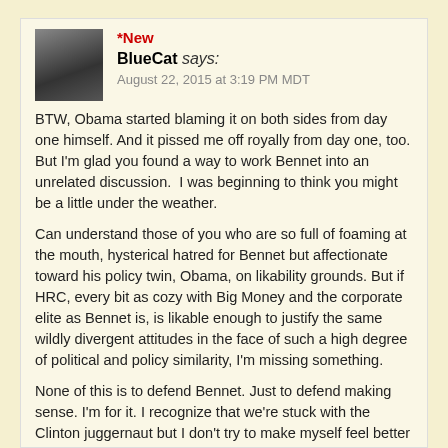*New
BlueCat says:
August 22, 2015 at 3:19 PM MDT
BTW, Obama started blaming it on both sides from day one himself. And it pissed me off royally from day one, too. But I'm glad you found a way to work Bennet into an unrelated discussion.  I was beginning to think you might be a little under the weather.
Can understand those of you who are so full of foaming at the mouth, hysterical hatred for Bennet but affectionate toward his policy twin, Obama, on likability grounds. But if HRC, every bit as cozy with Big Money and the corporate elite as Bennet is, is likable enough to justify the same wildly divergent attitudes in the face of such a high degree of political and policy similarity, I'm missing something.
None of this is to defend Bennet. Just to defend making sense. I'm for it. I recognize that we're stuck with the Clinton juggernaut but I don't try to make myself feel better about it by kidding myself